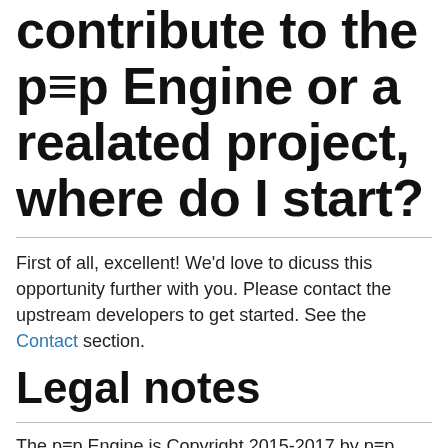contribute to the p≡p Engine or a realated project, where do I start?
First of all, excellent! We'd love to dicuss this opportunity further with you. Please contact the upstream developers to get started. See the Contact section.
Legal notes
The p≡p Engine is Copyright 2015-2017 by p≡p foundation, Switzerland. The source code of the p≡p Engine is licensed under